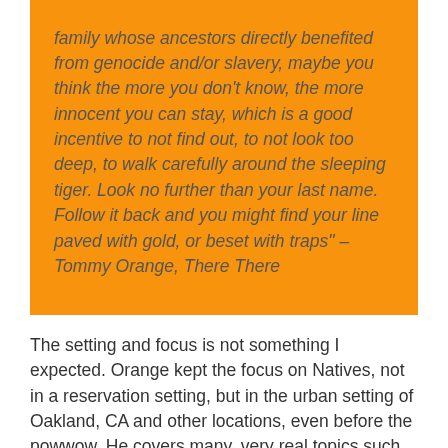family whose ancestors directly benefited from genocide and/or slavery, maybe you think the more you don't know, the more innocent you can stay, which is a good incentive to not find out, to not look too deep, to walk carefully around the sleeping tiger. Look no further than your last name. Follow it back and you might find your line paved with gold, or beset with traps" – Tommy Orange, There There
The setting and focus is not something I expected. Orange kept the focus on Natives, not in a reservation setting, but in the urban setting of Oakland, CA and other locations, even before the powwow. He covers many, very real topics such as cultural and ethnic identity, family, addiction, tradition, violence, disadvantaged youth, and community. And this is only by what I can tell, by the